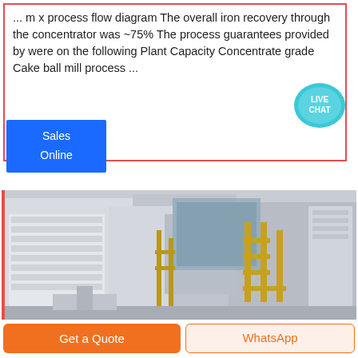... m x process flow diagram The overall iron recovery through the concentrator was ~75% The process guarantees provided by were on the following Plant Capacity Concentrate grade Cake ball mill process ...
[Figure (illustration): Live Chat bubble icon - teal colored speech bubble with 'LIVE CHAT' text]
[Figure (photo): Industrial plant or concentrator facility, aerial/angled view showing large white and grey structures with yellow scaffolding/framework]
Sales Online
Get a Quote
WhatsApp